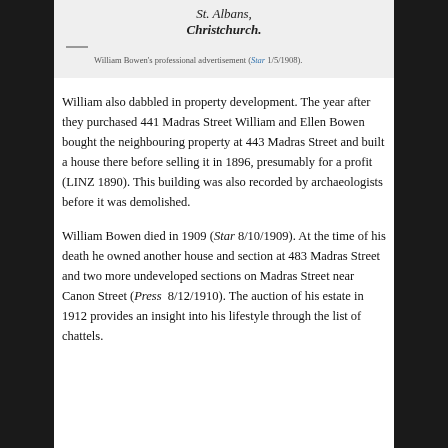[Figure (illustration): Partial view of William Bowen's professional advertisement showing italic text 'St. Albans, Christchurch.' on a grey background]
William Bowen's professional advertisement (Star 1/5/1908).
William also dabbled in property development. The year after they purchased 441 Madras Street William and Ellen Bowen bought the neighbouring property at 443 Madras Street and built a house there before selling it in 1896, presumably for a profit (LINZ 1890). This building was also recorded by archaeologists before it was demolished.
William Bowen died in 1909 (Star 8/10/1909). At the time of his death he owned another house and section at 483 Madras Street and two more undeveloped sections on Madras Street near Canon Street (Press 8/12/1910). The auction of his estate in 1912 provides an insight into his lifestyle through the list of chattels.